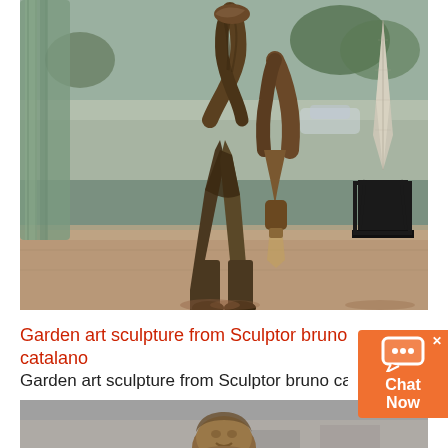[Figure (photo): Outdoor photo of bronze sculptures by Bruno Catalano. The sculptures depict partial human figures — torsos and legs with missing sections — placed on a pavement. In the background are trees, cars, and a wall. On the right side is another tall sculpture on a stand.]
Garden art sculpture from Sculptor bruno catalano
Garden art sculpture from Sculptor bruno catalan...... read more
[Figure (photo): Close-up photo of the upper body/head of a bronze sculpture by Bruno Catalano, showing a man's face and torso outdoors.]